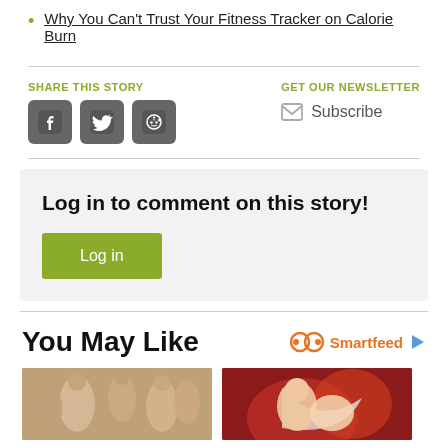Why You Can't Trust Your Fitness Tracker on Calorie Burn
SHARE THIS STORY
[Figure (other): Social sharing icons: Facebook, Twitter, Reddit buttons]
GET OUR NEWSLETTER
Subscribe
Log in to comment on this story!
Log in
You May Like
Smartfeed
[Figure (photo): Two thumbnail images: left shows Indian temple stone carvings of figures, right shows an animated/illustrated image with red background featuring stylized figures]